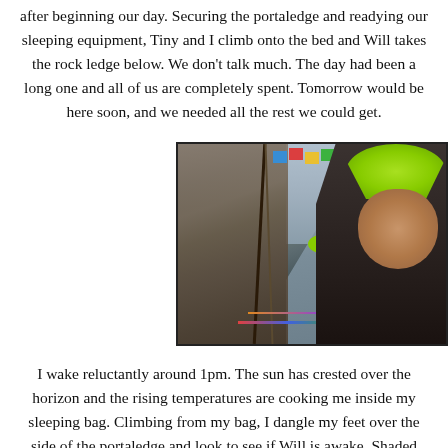after beginning our day. Securing the portaledge and readying our sleeping equipment, Tiny and I climb onto the bed and Will takes the rock ledge below. We don't talk much. The day had been a long one and all of us are completely spent. Tomorrow would be here soon, and we needed all the rest we could get.
[Figure (photo): Three climbers on a portaledge on a sheer rock wall, with colorful prayer flags, ropes, and mountain scenery in the background. The foreground person is taking a selfie wearing a bright green hat.]
I wake reluctantly around 1pm. The sun has crested over the horizon and the rising temperatures are cooking me inside my sleeping bag. Climbing from my bag, I dangle my feet over the side of the portaledge and look to see if Will is awake. Shaded from the sun underneath the portaledge, he's still enjoying the rest. My movement wakes Tiny up and he sits up alongside me. Preparing coffee, we joke about how fucked up yesterday was. We